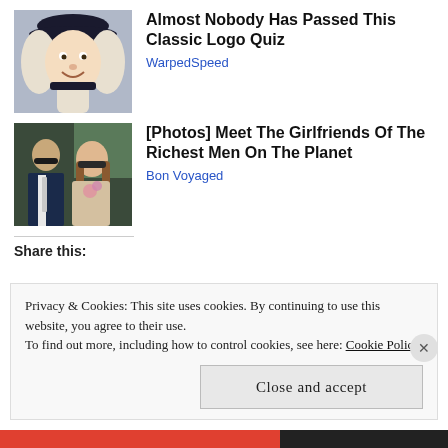[Figure (photo): Illustration of a man in historical Quaker-style dress with white wig and black hat, smiling.]
Almost Nobody Has Passed This Classic Logo Quiz
WarpedSpeed
[Figure (photo): Photo of an older man in a suit and a younger woman with long hair wearing sunglasses, sitting outdoors.]
[Photos] Meet The Girlfriends Of The Richest Men On The Planet
Bon Voyaged
Share this:
Privacy & Cookies: This site uses cookies. By continuing to use this website, you agree to their use.
To find out more, including how to control cookies, see here: Cookie Policy
Close and accept